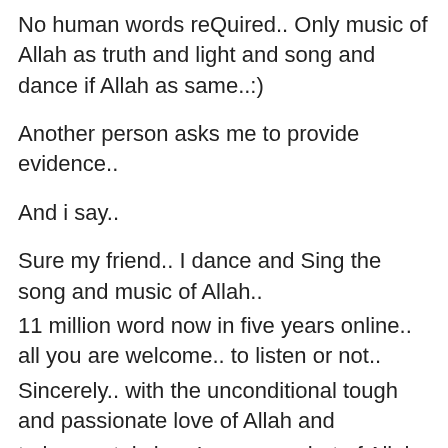No human words reQuired.. Only music of Allah as truth and light and song and dance if Allah as same..:)
Another person asks me to provide evidence..
And i say..
Sure my friend.. I dance and Sing the song and music of Allah..
11 million word now in five years online.. all you are welcome.. to listen or not..
Sincerely.. with the unconditional tough and passionate love of Allah and
to be crystal clear I am a prophet of Allah in how we define that
in the west as a humble teacher who can be any human